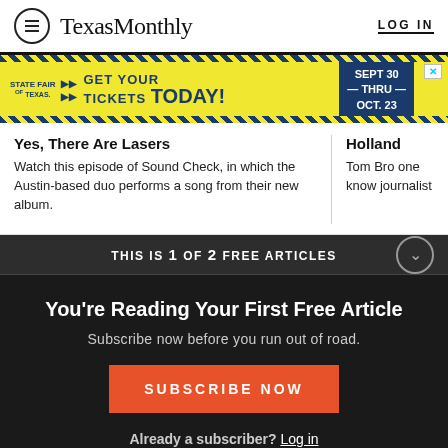Texas Monthly  LOG IN
[Figure (other): Advertisement banner: State Fair of Texas – Get Your Tickets Today! Sept 30 thru Oct 23]
Yes, There Are Lasers
Watch this episode of Sound Check, in which the Austin-based duo performs a song from their new album.
Holland
Tom Bro one know journalist
THIS IS 1 OF 2 FREE ARTICLES
You're Reading Your First Free Article
Subscribe now before you run out of road.
SUBSCRIBE NOW
Already a subscriber? Log in